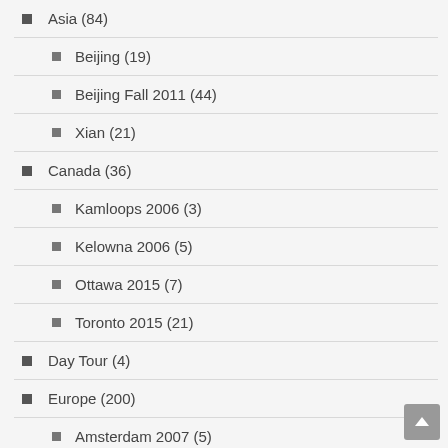Asia (84)
Beijing (19)
Beijing Fall 2011 (44)
Xian (21)
Canada (36)
Kamloops 2006 (3)
Kelowna 2006 (5)
Ottawa 2015 (7)
Toronto 2015 (21)
Day Tour (4)
Europe (200)
Amsterdam 2007 (5)